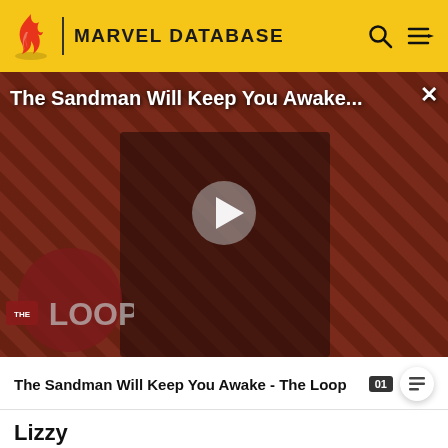MARVEL DATABASE
[Figure (screenshot): Video thumbnail showing a dark-cloaked figure against a red/brown diagonal striped background. Title reads 'The Sandman Will Keep You Awake...' with a play button and 'THE LOOP' badge at bottom left.]
The Sandman Will Keep You Awake - The Loop
Lizzy
Appearances: Elektra: Black,